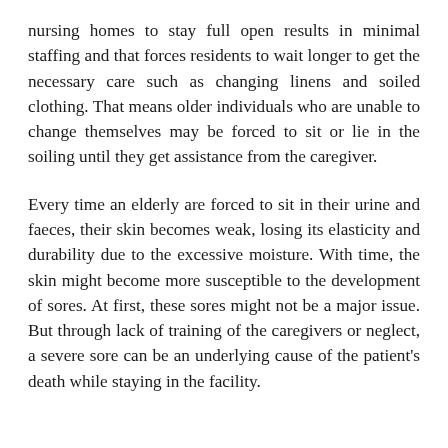nursing homes to stay full open results in minimal staffing and that forces residents to wait longer to get the necessary care such as changing linens and soiled clothing. That means older individuals who are unable to change themselves may be forced to sit or lie in the soiling until they get assistance from the caregiver.
Every time an elderly are forced to sit in their urine and faeces, their skin becomes weak, losing its elasticity and durability due to the excessive moisture. With time, the skin might become more susceptible to the development of sores. At first, these sores might not be a major issue. But through lack of training of the caregivers or neglect, a severe sore can be an underlying cause of the patient's death while staying in the facility.